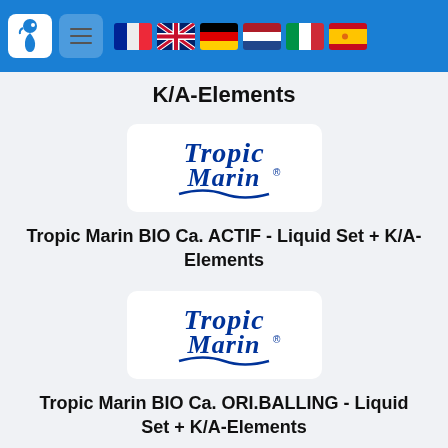Navigation header with seahorse logo, menu button, and language flags (French, English, German, Dutch, Italian, Spanish)
K/A-Elements
[Figure (logo): Tropic Marin logo in dark blue on white background]
Tropic Marin BIO Ca. ACTIF - Liquid Set + K/A-Elements
[Figure (logo): Tropic Marin logo in dark blue on white background]
Tropic Marin BIO Ca. ORI.BALLING - Liquid Set + K/A-Elements
[Figure (logo): Tropic Marin logo in dark blue on white background (partial)]